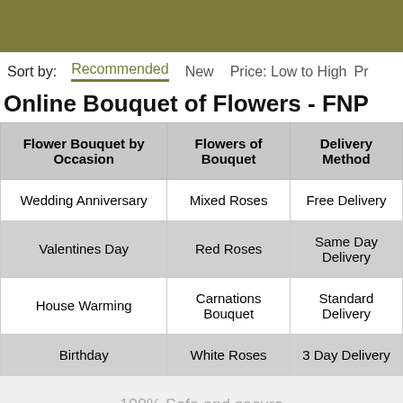Sort by:   Recommended   New   Price: Low to High   Pr
Online Bouquet of Flowers - FNP
| Flower Bouquet by Occasion | Flowers of Bouquet | Delivery Method |
| --- | --- | --- |
| Wedding Anniversary | Mixed Roses | Free Delivery |
| Valentines Day | Red Roses | Same Day Delivery |
| House Warming | Carnations Bouquet | Standard Delivery |
| Birthday | White Roses | 3 Day Delivery |
100% Safe and secure payments.
Follow us on: